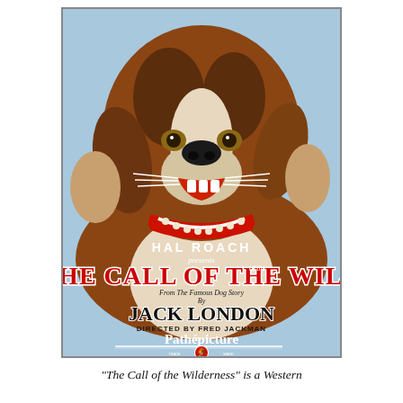[Figure (illustration): Vintage movie poster for 'The Call of the Wild' produced by Hal Roach. Features a large Saint Bernard dog with a red collar and pearl necklace in the upper portion, against a light blue background. Text on the poster reads: 'HAL ROACH presents THE CALL OF THE WILD FROM THE FAMOUS DOG STORY BY JACK LONDON DIRECTED BY FRED JACKMAN Pathépicture TRADE MARK [rooster logo]'. The title text is in large red block letters with white outline; other text in white or dark colors.]
“The Call of the Wilderness” is a Western